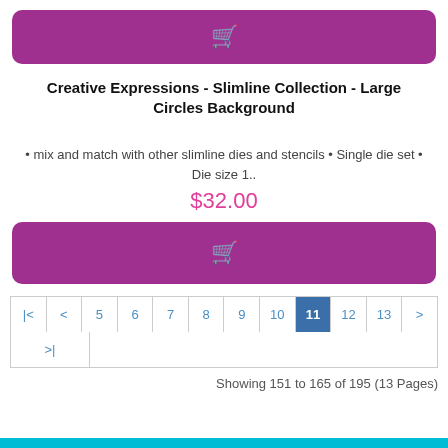[Figure (other): Purple add-to-cart button with shopping cart icon at top]
Creative Expressions - Slimline Collection - Large Circles Background
• mix and match with other slimline dies and stencils • Single die set • Die size 1..
$32.00
[Figure (other): Purple add-to-cart button with shopping cart icon at bottom]
Pagination: |< < 5 6 7 8 9 10 11 12 13 > >|
Showing 151 to 165 of 195 (13 Pages)